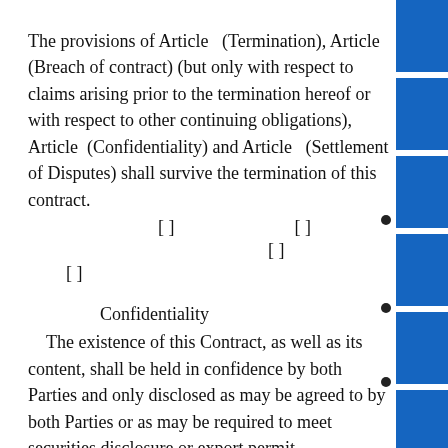The provisions of Article   (Termination), Article (Breach of contract) (but only with respect to claims arising prior to the termination hereof or with respect to other continuing obligations), Article  (Confidentiality) and Article   (Settlement of Disputes) shall survive the termination of this contract.
[ ]                    [ ]                [ ]              [ ]
Confidentiality
The existence of this Contract, as well as its content, shall be held in confidence by both Parties and only disclosed as may be agreed to by both Parties or as may be required to meet securities disclosure or export permit requirements. Neither Party shall make public statements or issue publicity or media releases with regard to this Contract or the relationship between the